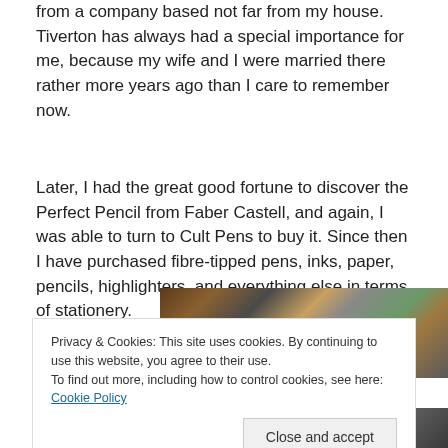from a company based not far from my house. Tiverton has always had a special importance for me, because my wife and I were married there rather more years ago than I care to remember now.
Later, I had the great good fortune to discover the Perfect Pencil from Faber Castell, and again, I was able to turn to Cult Pens to buy it. Since then I have purchased fibre-tipped pens, inks, paper, pencils, highlighters, and everything else in terms of stationery.
[Figure (photo): Partial photo of a cluttered desk with stationery items, partially obscured by cookie banner]
Privacy & Cookies: This site uses cookies. By continuing to use this website, you agree to their use.
To find out more, including how to control cookies, see here: Cookie Policy
[Figure (photo): Bottom portion of a photo, dark tones, partially visible at page bottom]